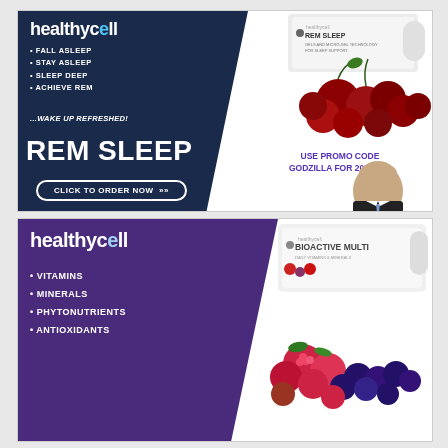[Figure (advertisement): Healthycell REM Sleep advertisement with dark navy blue diagonal design. Left panel: healthycell logo, bullet points (FALL ASLEEP, STAY ASLEEP, SLEEP DEEP, ACHIEVE REM, ...WAKE UP REFRESHED!), large REM SLEEP text, and CLICK TO ORDER NOW button. Right panel: product box, cherries photo, promo code text (USE PROMO CODE GODZILLA FOR 20% OFF), and man in suit photo.]
[Figure (advertisement): Healthycell Bioactive Multi advertisement with purple diagonal design. Left panel: healthycell logo, bullet points (VITAMINS, MINERALS, PHYTONUTRIENTS, ANTIOXIDANTS). Right panel: Bioactive Multi product box and mixed berries photo.]